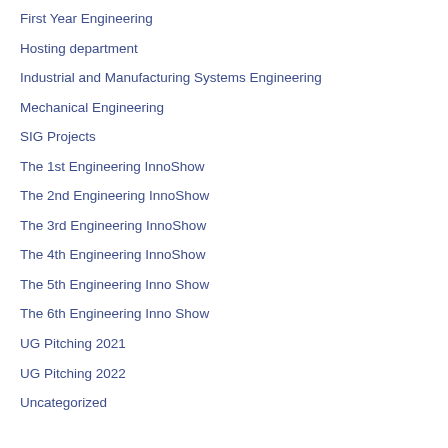First Year Engineering
Hosting department
Industrial and Manufacturing Systems Engineering
Mechanical Engineering
SIG Projects
The 1st Engineering InnoShow
The 2nd Engineering InnoShow
The 3rd Engineering InnoShow
The 4th Engineering InnoShow
The 5th Engineering Inno Show
The 6th Engineering Inno Show
UG Pitching 2021
UG Pitching 2022
Uncategorized